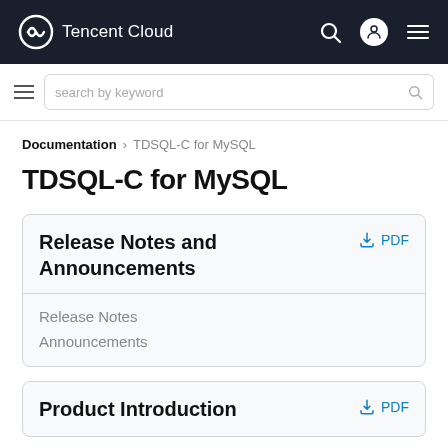Tencent Cloud
search by keyword
Documentation > TDSQL-C for MySQL
TDSQL-C for MySQL
Release Notes and Announcements
Release Notes
Announcements
Product Introduction